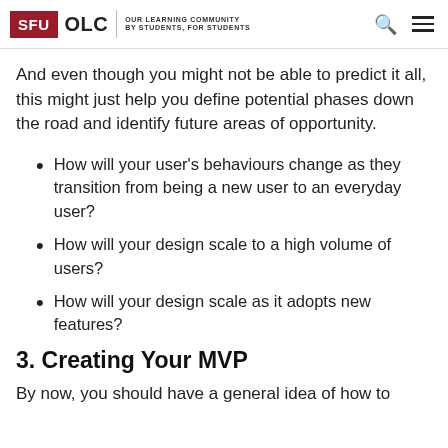SFU OLC | OUR LEARNING COMMUNITY BY STUDENTS, FOR STUDENTS
And even though you might not be able to predict it all, this might just help you define potential phases down the road and identify future areas of opportunity.
How will your user's behaviours change as they transition from being a new user to an everyday user?
How will your design scale to a high volume of users?
How will your design scale as it adopts new features?
3. Creating Your MVP
By now, you should have a general idea of how to